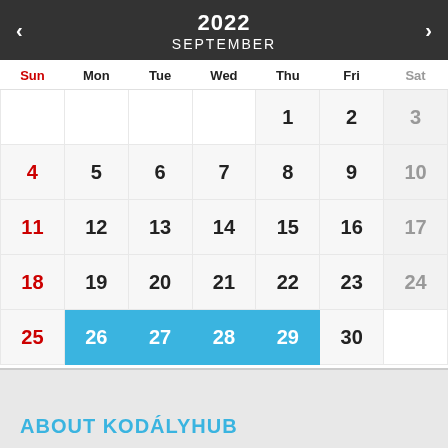2022 SEPTEMBER
| Sun | Mon | Tue | Wed | Thu | Fri | Sat |
| --- | --- | --- | --- | --- | --- | --- |
|  |  |  |  | 1 | 2 | 3 |
| 4 | 5 | 6 | 7 | 8 | 9 | 10 |
| 11 | 12 | 13 | 14 | 15 | 16 | 17 |
| 18 | 19 | 20 | 21 | 22 | 23 | 24 |
| 25 | 26 | 27 | 28 | 29 | 30 |  |
ABOUT KODÁLYHUB